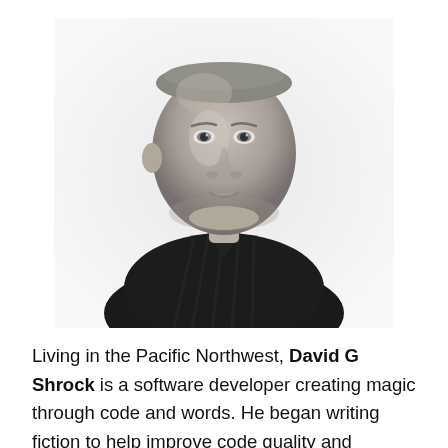[Figure (photo): Black and white portrait photograph of a man with short light hair, wearing a dark striped collared shirt, photographed against a light/white background. The image is in grayscale and shows the man from the shoulders up.]
Living in the Pacific Northwest, David G Shrock is a software developer creating magic through code and words. He began writing fiction to help improve code quality and readability with great success. When not